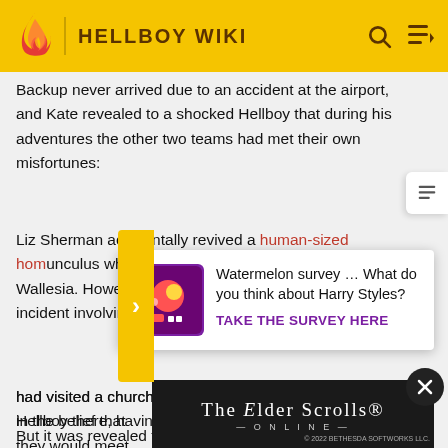HELLBOY WIKI
Backup never arrived due to an accident at the airport, and Kate revealed to a shocked Hellboy that during his adventures the other two teams had met their own misfortunes:
Liz Sherman accidentally revived a human-sized homunculus while investigating a ruined church in Wallachia. However, it was also responsible for an incident involving a dimensional rip that—
[Figure (infographic): Survey popup advertisement: Watermelon survey asking about Harry Styles opinion with 'TAKE THE SURVEY HERE' call to action in purple, with colorful survey icon]
[Figure (screenshot): The Elder Scrolls Online advertisement banner with dark background and game logo]
had visited a church in the belief that they would meet Hellboy there, having been alerted by a device.
But it was revealed to be a trap set up by Rasputin, who wanted revenge against Abe for stabbing the mystic through the chest in their last encounter during the